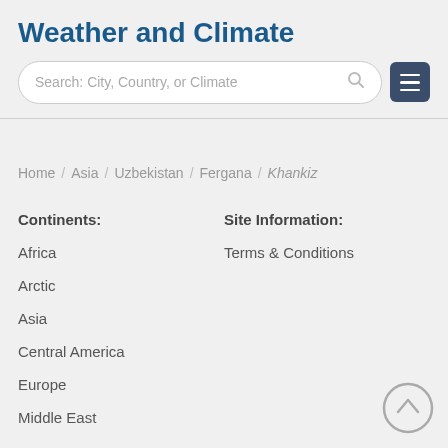Weather and Climate
Search: City, Country, or Climate
Home / Asia / Uzbekistan / Fergana / Khankiz
Continents:
Site Information:
Africa
Terms & Conditions
Arctic
Asia
Central America
Europe
Middle East